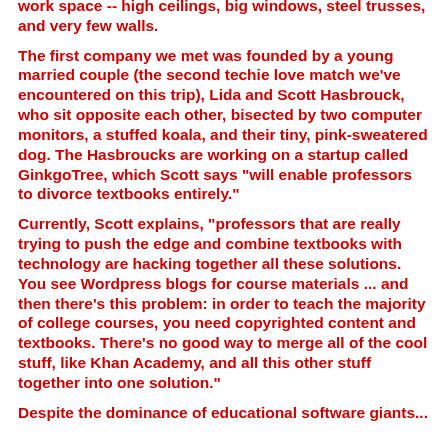work space -- high ceilings, big windows, steel trusses, and very few walls.
The first company we met was founded by a young married couple (the second techie love match we've encountered on this trip), Lida and Scott Hasbrouck, who sit opposite each other, bisected by two computer monitors, a stuffed koala, and their tiny, pink-sweatered dog. The Hasbroucks are working on a startup called GinkgoTree, which Scott says "will enable professors to divorce textbooks entirely."
Currently, Scott explains, "professors that are really trying to push the edge and combine textbooks with technology are hacking together all these solutions. You see Wordpress blogs for course materials ... and then there's this problem: in order to teach the majority of college courses, you need copyrighted content and textbooks. There's no good way to merge all of the cool stuff, like Khan Academy, and all this other stuff together into one solution."
Despite the dominance of educational software giants...